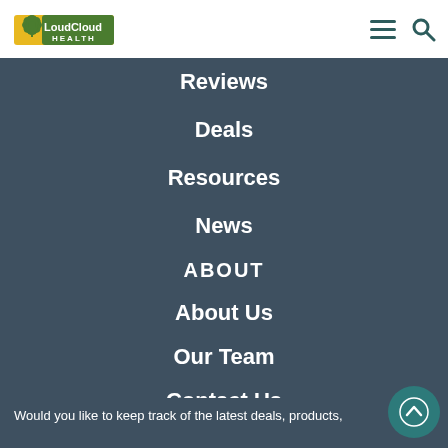[Figure (logo): LoudCloud Health logo with cannabis leaf and yellow/green banner]
Reviews
Deals
Resources
News
ABOUT
About Us
Our Team
Contact Us
Would you like to keep track of the latest deals, products,